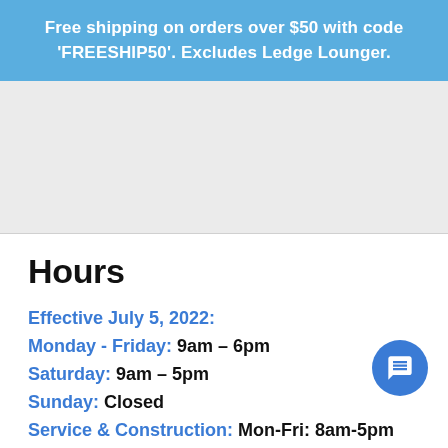Free shipping on orders over $50 with code 'FREESHIP50'. Excludes Ledge Lounger.
[Figure (other): Gray placeholder/image area]
Hours
Effective July 5, 2022:
Monday - Friday: 9am – 6pm
Saturday: 9am – 5pm
Sunday: Closed
Service & Construction: Mon-Fri: 8am-5pm